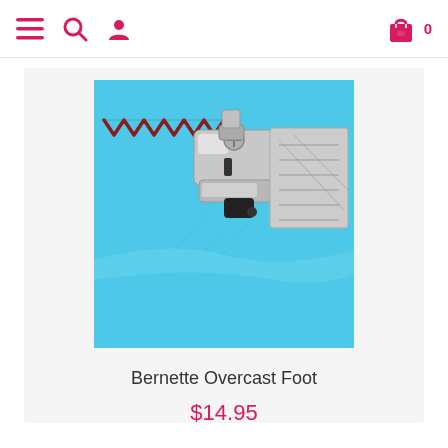Navigation header with hamburger menu, search icon, user icon, cart icon with 0 items
[Figure (photo): Close-up photo of a sewing machine overcast foot on turquoise/light blue fabric, showing the metal presser foot attachment with zigzag stitch guide on the edge of the fabric]
Bernette Overcast Foot
$14.95